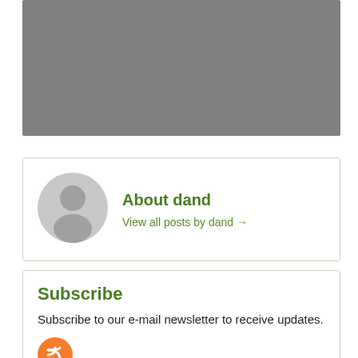[Figure (photo): Gray banner image placeholder at top of page]
[Figure (illustration): About dand card with gray avatar silhouette icon, bold green title 'About dand', and link 'View all posts by dand →']
About dand
View all posts by dand →
Subscribe
Subscribe to our e-mail newsletter to receive updates.
[Figure (illustration): Orange circle RSS feed icon]